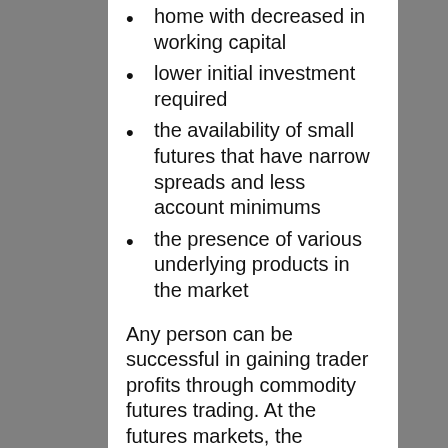home with decreased in working capital
lower initial investment required
the availability of small futures that have narrow spreads and less account minimums
the presence of various underlying products in the market
Any person can be successful in gaining trader profits through commodity futures trading. At the futures markets, the speculators and the hedgers meet to predict whether the price of a commodity will rise or fall in the future based on a particular market or currency index. Just like any market,